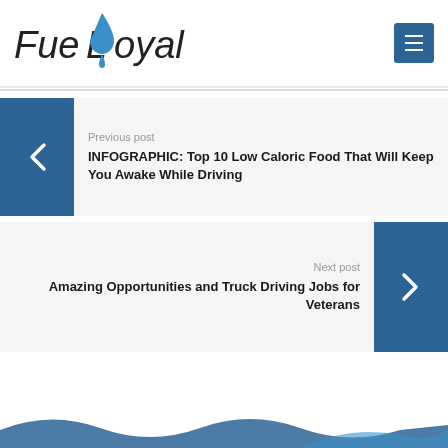[Figure (logo): FuelLoyal logo with blue water drop icon and italic text]
Previous post
INFOGRAPHIC: Top 10 Low Caloric Food That Will Keep You Awake While Driving
Next post
Amazing Opportunities and Truck Driving Jobs for Veterans